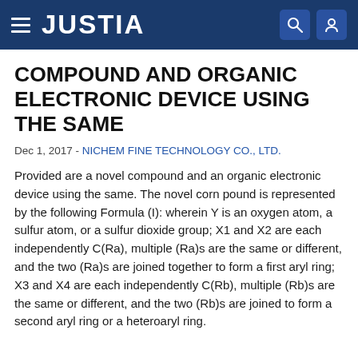JUSTIA
COMPOUND AND ORGANIC ELECTRONIC DEVICE USING THE SAME
Dec 1, 2017 - NICHEM FINE TECHNOLOGY CO., LTD.
Provided are a novel compound and an organic electronic device using the same. The novel corn pound is represented by the following Formula (I): wherein Y is an oxygen atom, a sulfur atom, or a sulfur dioxide group; X1 and X2 are each independently C(Ra), multiple (Ra)s are the same or different, and the two (Ra)s are joined together to form a first aryl ring; X3 and X4 are each independently C(Rb), multiple (Rb)s are the same or different, and the two (Rb)s are joined to form a second aryl ring or a heteroaryl ring.